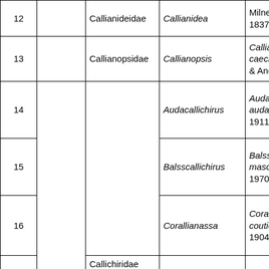| # |  | Family | Genus | Species/Authority |
| --- | --- | --- | --- | --- |
| 12 |  | Callianideidae | Callianidea | Milne Edw... 1837 |
| 13 |  | Callianopsidae | Callianopsis | Callianops... caecigena... & Anderso... |
| 14 |  |  | Audacallichirus | Audacallic... audax (de... 1911) |
| 15 |  |  | Balsscallichirus | Balsscallic... masoomi... 1970) |
| 16 |  | Callichiridae | Corallianassa | Coralliana... coutierei (... 1904) |
|  |  |  |  |  |